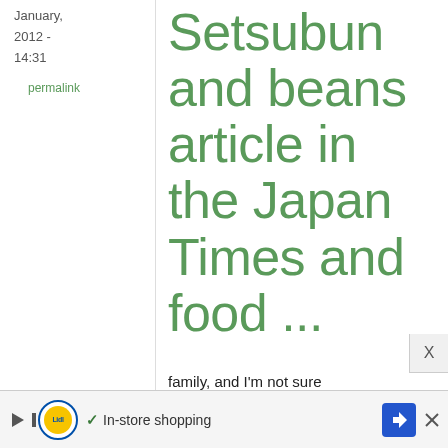January, 2012 - 14:31
permalink
Setsubun and beans article in the Japan Times and food ...
family, and I'm not sure
[Figure (screenshot): Advertisement bar at the bottom showing Lidl logo, checkmark, 'In-store shopping' text, and a blue navigation arrow icon]
X